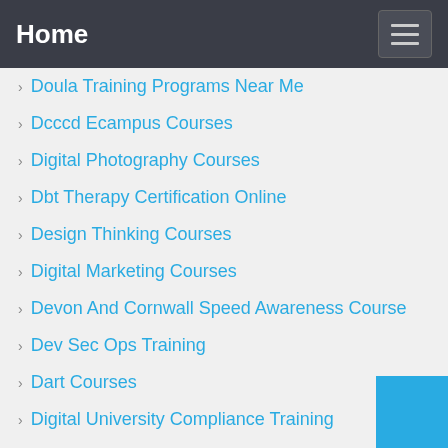Home
Doula Training Programs Near Me
Dcccd Ecampus Courses
Digital Photography Courses
Dbt Therapy Certification Online
Design Thinking Courses
Digital Marketing Courses
Devon And Cornwall Speed Awareness Course
Dev Sec Ops Training
Dart Courses
Digital University Compliance Training
Dart Training System
Dyncorp Training Di Learn